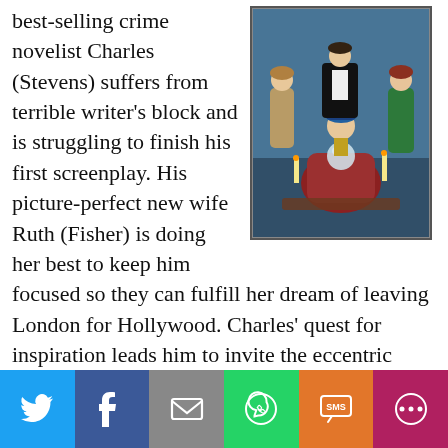[Figure (photo): Movie poster or promotional image showing cast of Blithe Spirit: three people standing (two women, one man in tuxedo) and a central seated woman in elaborate costume as Madame Acarti with crystal ball, against a dark/teal background]
best-selling crime novelist Charles (Stevens) suffers from terrible writer's block and is struggling to finish his first screenplay. His picture-perfect new wife Ruth (Fisher) is doing her best to keep him focused so they can fulfill her dream of leaving London for Hollywood. Charles' quest for inspiration leads him to invite the eccentric mystic Madame Acarti (Dench) to perform a seance in his home. He gets more than he bargained for when Madame Acarti inadvertently summons the spirit of his first wife: the brilliant and fiery Elvira (Mann). Based on the play by Noel Coward, which was initially made into a film in 1946 (directed by
[Figure (infographic): Social sharing bar with six buttons: Twitter (blue), Facebook (dark blue), Email/envelope (grey), WhatsApp (green), SMS (orange), More/circle-dots (dark pink/magenta)]